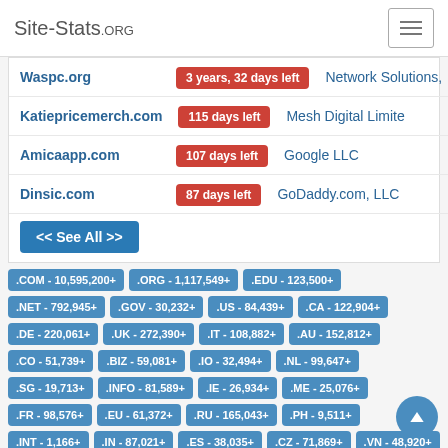Site-Stats.ORG
| Domain | Expiry | Registrar |
| --- | --- | --- |
| Waspc.org | 3 years, 32 days left | Network Solutions, |
| Katiepricemerch.com | 115 days left | Mesh Digital Limite |
| Amicaapp.com | 107 days left | Google LLC |
| Dinsic.com | 87 days left | GoDaddy.com, LLC |
<< See All >>
.COM - 10,595,200+
.ORG - 1,117,549+
.EDU - 123,500+
.NET - 792,945+
.GOV - 30,232+
.US - 84,439+
.CA - 122,904+
.DE - 220,061+
.UK - 272,390+
.IT - 108,882+
.AU - 152,812+
.CO - 51,739+
.BIZ - 59,081+
.IO - 32,494+
.NL - 99,647+
.SG - 19,713+
.INFO - 81,589+
.IE - 26,934+
.ME - 25,076+
.FR - 98,576+
.EU - 61,372+
.RU - 165,043+
.PH - 9,511+
.INT - 1,166+
.IN - 87,021+
.ES - 38,035+
.CZ - 71,869+
.VN - 48,920+
.TV - 14,250+
.SITE - 9,829+
.RO - 37,484+
.PL - 44,520+
.PK - 10,373+
.MOBI - 4,464+
.LK - 5,507+
.CN - 66,137+
.CH - 66,914+
.AT - 31,992+